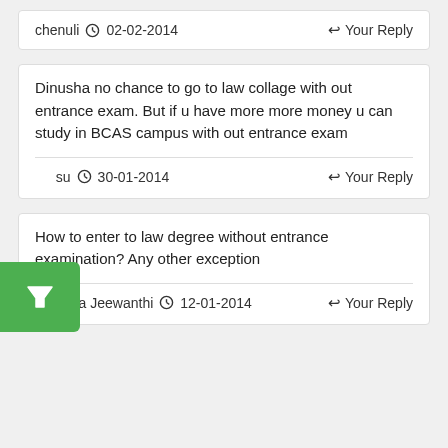chenuli  02-02-2014   Your Reply
Dinusha no chance to go to law collage with out entrance exam. But if u have more more money u can study in BCAS campus with out entrance exam
su  30-01-2014   Your Reply
How to enter to law degree without entrance examination? Any other exception
Dinusha Jeewanthi  12-01-2014   Your Reply